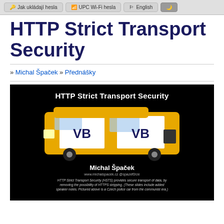Jak ukládají hesla | UPC Wi-Fi hesla | English
HTTP Strict Transport Security
» Michal Špaček » Přednášky
[Figure (screenshot): Presentation slide titled 'HTTP Strict Transport Security' showing a yellow and white Czech police car (VB) from the communist era, with presenter name Michal Špaček, website www.michalspacek.cz, Twitter @spazef0rze, and a description: 'HTTP Strict Transport Security (HSTS) provides secure transport of data, by removing the possibility of HTTPS stripping. (These slides include added speaker notes. Pictured above is a Czech police car from the communist era.)']